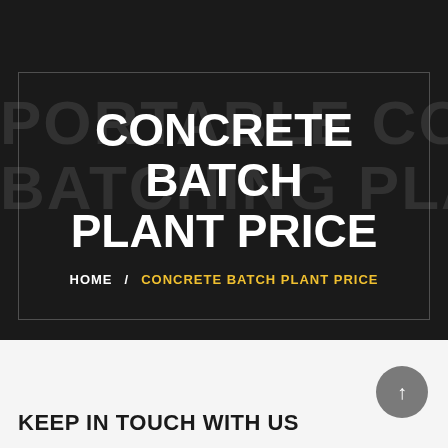[Figure (photo): Dark hero banner with background image of a concrete batching plant, overlaid with a semi-transparent bordered box containing the page title and breadcrumb navigation. Background ghost text reads 'PORTABLE CONCRETE BATCHING PLANT'.]
CONCRETE BATCH PLANT PRICE
HOME / CONCRETE BATCH PLANT PRICE
KEEP IN TOUCH WITH US